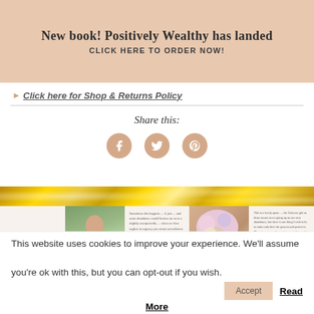New book! Positively Wealthy has landed CLICK HERE TO ORDER NOW!
Click here for Shop & Returns Policy
Share this:
[Figure (illustration): Gold glitter decorative banner]
[Figure (photo): Grid of blog post preview cards: Hello September text card, woman sitting outdoors photo, article text card, flower bouquet photo, article text card]
This website uses cookies to improve your experience. We'll assume you're ok with this, but you can opt-out if you wish. Accept Read More